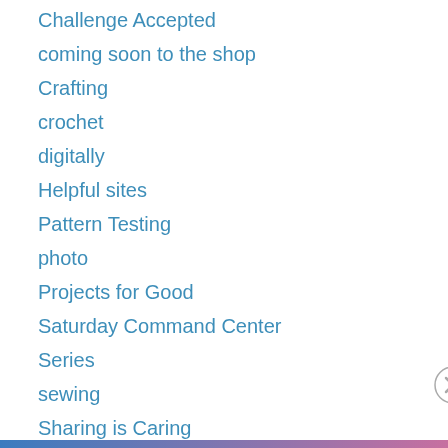Challenge Accepted
coming soon to the shop
Crafting
crochet
digitally
Helpful sites
Pattern Testing
photo
Projects for Good
Saturday Command Center
Series
sewing
Sharing is Caring
Privacy & Cookies: This site uses cookies. By continuing to use this website, you agree to their use.
To find out more, including how to control cookies, see here: Cookie Policy
Close and accept